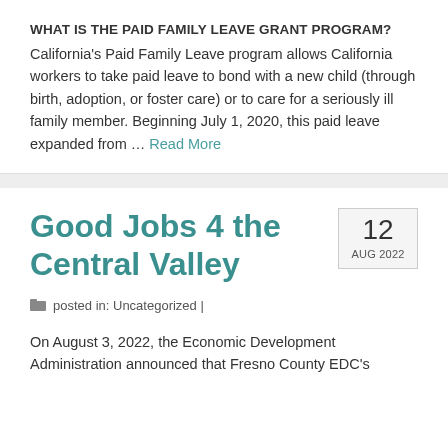WHAT IS THE PAID FAMILY LEAVE GRANT PROGRAM?
California's Paid Family Leave program allows California workers to take paid leave to bond with a new child (through birth, adoption, or foster care) or to care for a seriously ill family member. Beginning July 1, 2020, this paid leave expanded from … Read More
Good Jobs 4 the Central Valley
12 AUG 2022
posted in: Uncategorized |
On August 3, 2022, the Economic Development Administration announced that Fresno County EDC's